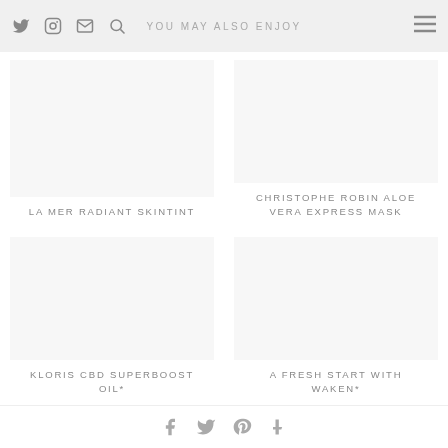YOU MAY ALSO ENJOY
LA MER RADIANT SKINTINT
CHRISTOPHE ROBIN ALOE VERA EXPRESS MASK
KLORIS CBD SUPERBOOST OIL*
A FRESH START WITH WAKEN*